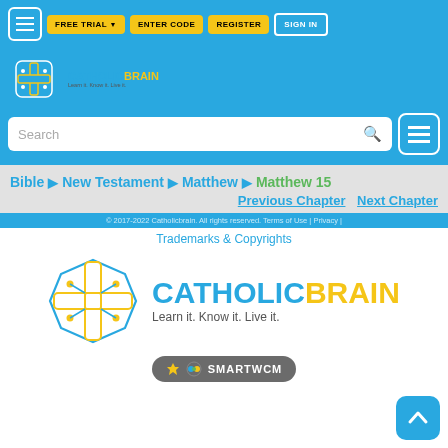FREE TRIAL  ENTER CODE  REGISTER  SIGN IN
[Figure (logo): CatholicBrain logo - brain circuit icon with cross, text CATHOLICBRAIN Learn it. Know it. Live it.]
Search
Bible > New Testament > Matthew > Matthew 15
Previous Chapter   Next Chapter
© 2017-2022 Catholicbrain. All rights reserved. Terms of Use | Privacy | Trademarks & Copyrights
[Figure (logo): CatholicBrain large logo - brain circuit icon with cross, text CATHOLICBRAIN Learn it. Know it. Live it.]
[Figure (logo): SMARTWCM badge logo]